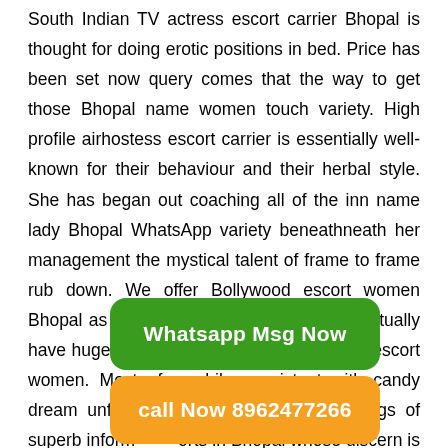South Indian TV actress escort carrier Bhopal is thought for doing erotic positions in bed. Price has been set now query comes that the way to get those Bhopal name women touch variety. High profile airhostess escort carrier is essentially well-known for their behaviour and their herbal style. She has began out coaching all of the inn name lady Bhopal WhatsApp variety beneathneath her management the mystical talent of frame to frame rub down. We offer Bollywood escort women Bhopal as in line with your requirement. I actually have huge information of running of Bhopal escort women. Most of a while consistent with candy dream unfastened housewife escort offerings of superb inform[ation] [esc]orts in Bhopal whose discern is warm[...] [se]xual pleasures. Model escorts in Bhopa[l ...] notable pride level. I provide all of[...] ame women WhatsApp variety
Whatsapp Msg Now
call Now 8962477266